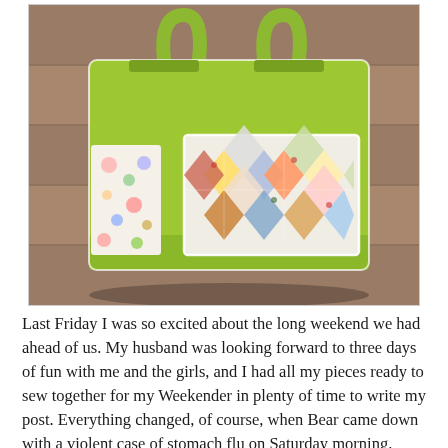[Figure (photo): A green tote bag with quilted patchwork fabric panel on the front pocket, featuring colorful diamond/tumbling block pattern in yellow, blue, red, and white fabrics. The bag has green handles and sits on what appears to be a wooden surface outdoors.]
Last Friday I was so excited about the long weekend we had ahead of us. My husband was looking forward to three days of fun with me and the girls, and I had all my pieces ready to sew together for my Weekender in plenty of time to write my post. Everything changed, of course, when Bear came down with a violent case of stomach flu on Saturday morning. With seven of us in the house, we've learned to expect that if one person gets sick, everyone is going to get sick. As Mouse, my dad, and my husband all came down with symptoms